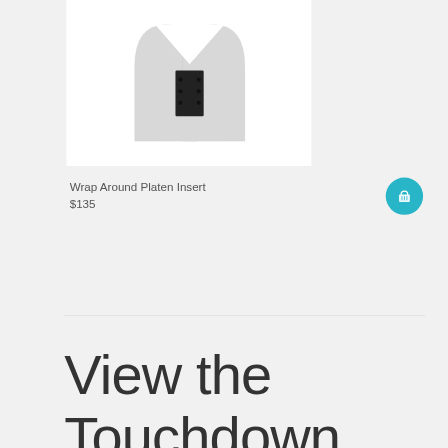[Figure (photo): Product photo of a Wrap Around Platen Insert - a white U-shaped platen insert with black mechanical component in the center cutout, shown against white background]
Wrap Around Platen Insert
$135
View the Touchdown